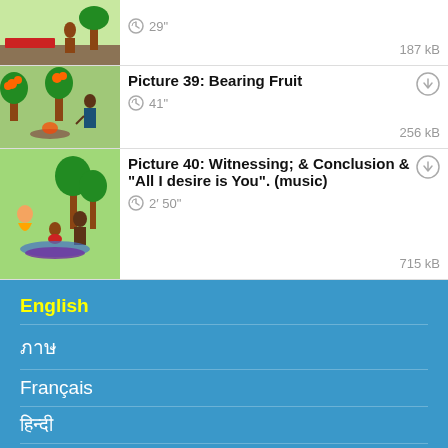29" | 187 kB
Picture 39: Bearing Fruit | 41" | 256 kB
Picture 40: Witnessing; & Conclusion & "All I desire is You". (music) | 2' 50" | 715 kB
English
ภาษ
Français
हिन्दी
Deutsch
Português